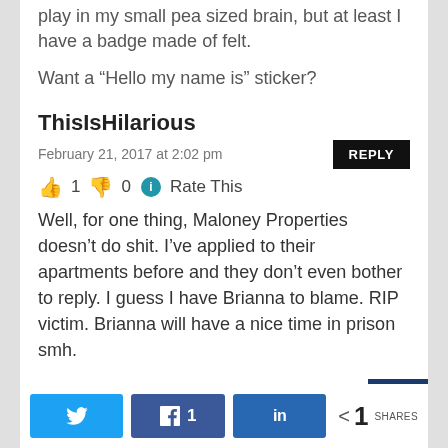play in my small pea sized brain, but at least I have a badge made of felt.
Want a “Hello my name is” sticker?
ThisIsHilarious
February 21, 2017 at 2:02 pm
👍 1 👎 0 ℹ Rate This
Well, for one thing, Maloney Properties doesn’t do shit. I’ve applied to their apartments before and they don’t even bother to reply. I guess I have Brianna to blame. RIP victim. Brianna will have a nice time in prison smh.
Twitter | Facebook 1 | LinkedIn | < 1 SHARES